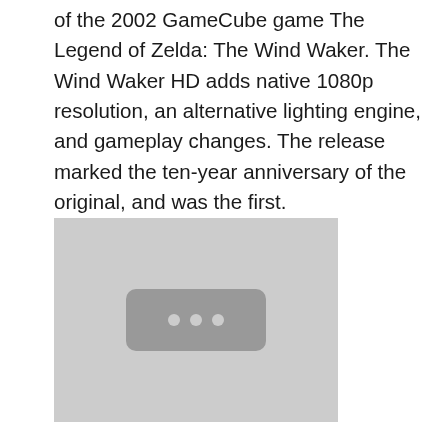of the 2002 GameCube game The Legend of Zelda: The Wind Waker. The Wind Waker HD adds native 1080p resolution, an alternative lighting engine, and gameplay changes. The release marked the ten-year anniversary of the original, and was the first.
[Figure (other): A light gray placeholder image box containing a darker gray rounded rectangle with three white dots, resembling a loading or media placeholder.]
Oct 15, 2013B B· The Legend of Zelda: The Wind Waker HD is a loving restoration of a bold and beautiful adventure, with Nintendo shifting some elements of the original game's aesthetic, and streamlining the pace Sep 18, 2013B B· The